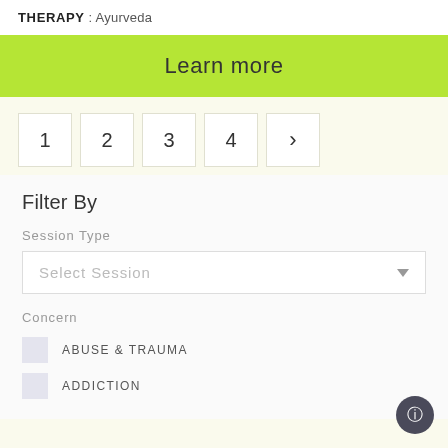THERAPY : Ayurveda
Learn more
1
2
3
4
>
Filter By
Session Type
Select Session
Concern
ABUSE & TRAUMA
ADDICTION